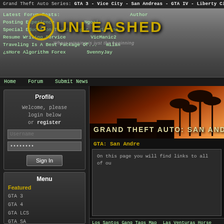Grand Theft Auto Series: GTA 3 - Vice City - San Andreas - GTA IV - Liberty City Stories
Latest Forum Posts:   Author
Posting Experience   Ngozi
Special Education Thesis Topic   VicManic2
Resume Writing Service   VicManic2
Traveling Is A Best Package Of...   milan
¿sHore Algorithm Forex   SvennyJay
[Figure (logo): GUNLEASHED logo with large G in circle]
Where winning is just the beginning
Home   Forum   Submit News
Profile
Welcome, please login below or register
Username
Sign In
Menu
Featured
GTA 3
GTA 4
GTA LCS
GTA SA
100% Completion
Artwork
Characters
[Figure (screenshot): Grand Theft Auto: San Andreas banner with sunset cityscape]
GTA: San Andre
On this page you will find links to all of ou
Los Santos Gang Tags Map   Las Venturas Horse